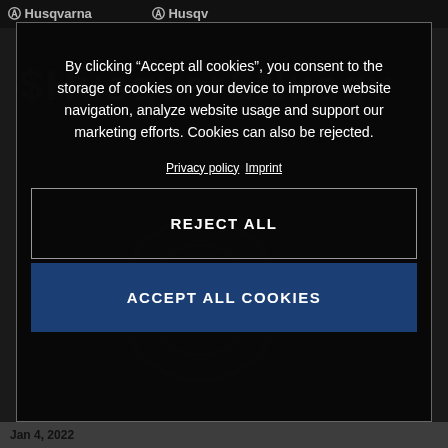[Figure (screenshot): Husqvarna website screenshot showing cookie consent modal dialog over dark background with Husqvarna logo watermark]
By clicking “Accept all cookies”, you consent to the storage of cookies on your device to improve website navigation, analyze website usage and support our marketing efforts. Cookies can also be rejected.
Privacy policy  Imprint
REJECT ALL
ACCEPT ALL COOKIES
Jan 4, 2022